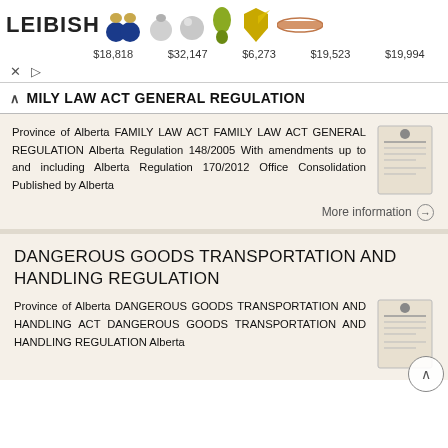[Figure (infographic): Leibish jewelry advertisement banner showing gemstone jewelry items with prices: $18,818, $32,147, $6,273, $19,523, $19,994]
FAMILY LAW ACT GENERAL REGULATION
Province of Alberta FAMILY LAW ACT FAMILY LAW ACT GENERAL REGULATION Alberta Regulation 148/2005 With amendments up to and including Alberta Regulation 170/2012 Office Consolidation Published by Alberta
More information →
DANGEROUS GOODS TRANSPORTATION AND HANDLING REGULATION
Province of Alberta DANGEROUS GOODS TRANSPORTATION AND HANDLING ACT DANGEROUS GOODS TRANSPORTATION AND HANDLING REGULATION Alberta